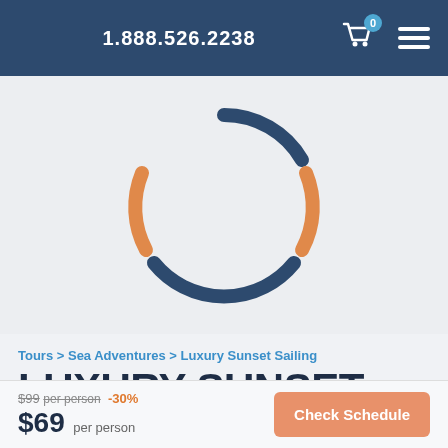1.888.526.2238
[Figure (other): Loading spinner with dark blue top and bottom arcs and orange left and right arcs forming a circle]
Tours > Sea Adventures > Luxury Sunset Sailing
LUXURY SUNSET SAILING
$99 USD  -30%
$99 per person  -30%  $69 per person
Check Schedule